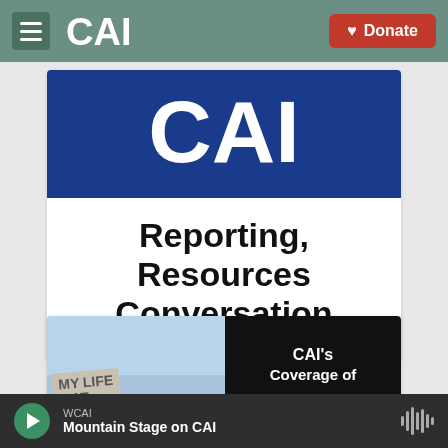CAI navigation bar with hamburger menu, CAI logo, and Donate button
[Figure (logo): CAI logo large white letters on dark blue background banner]
Reporting, Resources Conversation
[Figure (photo): Split image: left side shows a protest sign reading MY LIFE MA... against a blue sky; right side shows black background with text CAI's Coverage of...]
WCAI · Mountain Stage on CAI (audio player)